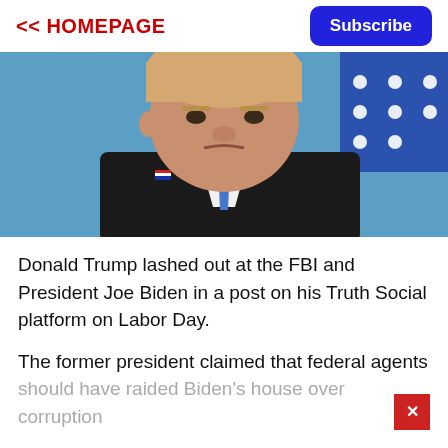<< HOMEPAGE
Subscribe
[Figure (photo): Donald Trump in a dark suit with a blue tie, looking stern against a blue background with a partial view of a flag with stars.]
Donald Trump lashed out at the FBI and President Joe Biden in a post on his Truth Social platform on Labor Day.
The former president claimed that federal agents should have raided Biden's house over corruption